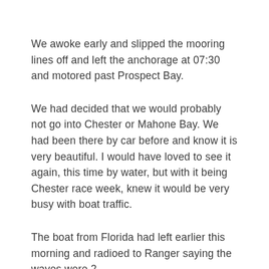We awoke early and slipped the mooring lines off and left the anchorage at 07:30 and motored past Prospect Bay.
We had decided that we would probably not go into Chester or Mahone Bay. We had been there by car before and know it is very beautiful. I would have loved to see it again, this time by water, but with it being Chester race week, knew it would be very busy with boat traffic.
The boat from Florida had left earlier this morning and radioed to Ranger saying the waves were 2